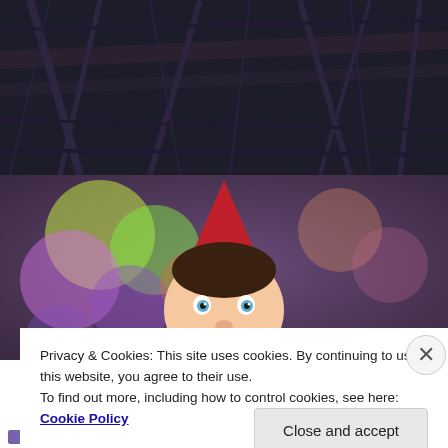[Figure (photo): Dark branches with dried vegetation against a dark background, shot from below.]
[Figure (photo): Elf on the Shelf toy doll with a red hat, smiling face with blue eyes, surrounded by colorful bokeh lights (yellow, green, purple, peach) on a purple-toned background.]
Privacy & Cookies: This site uses cookies. By continuing to use this website, you agree to their use.
To find out more, including how to control cookies, see here: Cookie Policy
Close and accept